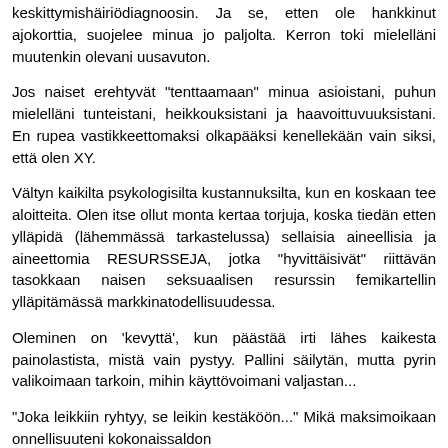keskittymishäiriödiagnoosin. Ja se, etten ole hankkinut ajokorttia, suojelee minua jo paljolta. Kerron toki mielelläni muutenkin olevani uusavuton.
Jos naiset erehtyvät "tenttaamaan" minua asioistani, puhun mielelläni tunteistani, heikkouksistani ja haavoittuvuuksistani. En rupea vastikkeettomaksi olkapääksi kenellekään vain siksi, että olen XY.
Vältyn kaikilta psykologisilta kustannuksilta, kun en koskaan tee aloitteita. Olen itse ollut monta kertaa torjuja, koska tiedän etten ylläpidä (lähemmässä tarkastelussa) sellaisia aineellisia ja aineettomia RESURSSEJA, jotka "hyvittäisivät" riittävän tasokkaan naisen seksuaalisen resurssin femikartellin ylläpitämässä markkinatodellisuudessa.
Oleminen on 'kevyttä', kun päästää irti lähes kaikesta painolastista, mistä vain pystyy. Pallini säilytän, mutta pyrin valikoimaan tarkoin, mihin käyttövoimani valjastan...
"Joka leikkiin ryhtyy, se leikin kestäköön..." Mikä maksimoikaan onnellisuuteni kokonaissaldon